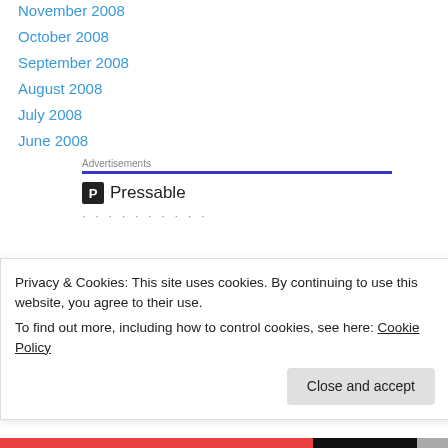November 2008
October 2008
September 2008
August 2008
July 2008
June 2008
Advertisements
[Figure (logo): Pressable logo with icon and name]
· · · · · · · · · ·
The Platform Where WordPress
Privacy & Cookies: This site uses cookies. By continuing to use this website, you agree to their use.
To find out more, including how to control cookies, see here: Cookie Policy
Close and accept